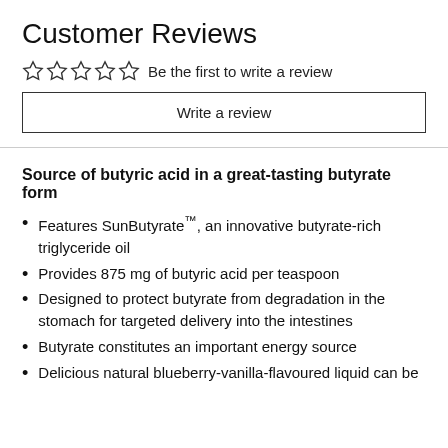Customer Reviews
☆☆☆☆☆  Be the first to write a review
Write a review
Source of butyric acid in a great-tasting butyrate form
Features SunButyrate™, an innovative butyrate-rich triglyceride oil
Provides 875 mg of butyric acid per teaspoon
Designed to protect butyrate from degradation in the stomach for targeted delivery into the intestines
Butyrate constitutes an important energy source
Delicious natural blueberry-vanilla-flavoured liquid can be